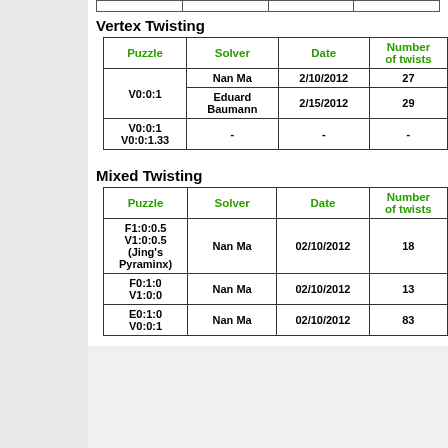| Puzzle | Solver | Date | Number of twists |
| --- | --- | --- | --- |
| V0:0:1 | Nan Ma | 2/10/2012 | 27 |
| V0:0:1 | Eduard Baumann | 2/15/2012 | 29 |
| V0:0:1 V0:0:1.33 | - | - | - |
Vertex Twisting
Mixed Twisting
| Puzzle | Solver | Date | Number of twists |
| --- | --- | --- | --- |
| F1:0:0.5 V1:0:0.5 (Jing's Pyraminx) | Nan Ma | 02/10/2012 | 18 |
| F0:1:0 V1:0:0 | Nan Ma | 02/10/2012 | 13 |
| E0:1:0 V0:0:1 | Nan Ma | 02/10/2012 | 83 |